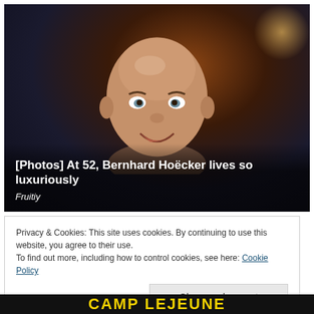[Figure (photo): Close-up photo of a middle-aged bald man smiling, set against a dark studio background with warm and blue lighting. Text overlay at bottom reads '[Photos] At 52, Bernhard Hoëcker lives so luxuriously' and 'Fruitiy'.]
[Photos] At 52, Bernhard Hoëcker lives so luxuriously
Fruitiy
Privacy & Cookies: This site uses cookies. By continuing to use this website, you agree to their use.
To find out more, including how to control cookies, see here: Cookie Policy
Close and accept
CAMP LEJEUNE